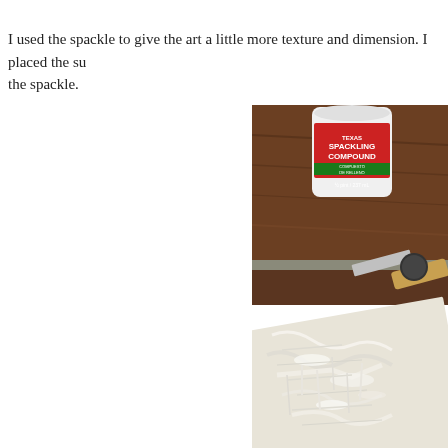I used the spackle to give the art a little more texture and dimension. I placed the s… the spackle.
[Figure (photo): A container of spackling compound sitting on a wooden surface, with a putty knife spreading white spackle on a flat surface in the foreground.]